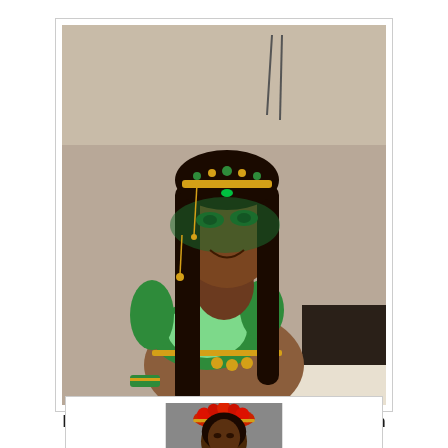[Figure (photo): A woman wearing a green carnival costume with gold jewelry, green face paint/mask design, and a beaded headpiece, smiling. She is wearing a green sequined bra top with feathered accents. Indoor setting with cables visible in background.]
Renaissance Mas Productions- Flourish
[Figure (photo): A woman wearing a red and gold floral headdress and costume, partially visible at the bottom of the page.]